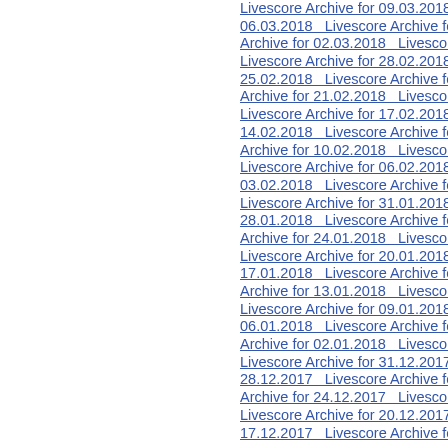Livescore Archive for 09.03.2018  Livescore Archive for 06.03.2018  Livescore Archive for 05.03.2018  Archive for 02.03.2018  Livescore Archive for... Livescore Archive for 28.02.2018  Livescore Archive for 25.02.2018  Livescore Archive for 24.02.2018  Archive for 21.02.2018  Livescore Archive for... Livescore Archive for 17.02.2018  Livescore Archive for 14.02.2018  Livescore Archive for 13.02.2018  Archive for 10.02.2018  Livescore Archive for... Livescore Archive for 06.02.2018  Livescore Archive for 03.02.2018  Livescore Archive for 02.02.2018 Livescore Archive for 31.01.2018  Livescore Archive for 28.01.2018  Livescore Archive for 27.01.2018  Archive for 24.01.2018  Livescore Archive for... Livescore Archive for 20.01.2018  Livescore Archive for 17.01.2018  Livescore Archive for 16.01.2018  Archive for 13.01.2018  Livescore Archive for... Livescore Archive for 09.01.2018  Livescore Archive for 06.01.2018  Livescore Archive for 05.01.2018  Archive for 02.01.2018  Livescore Archive for... Livescore Archive for 31.12.2017  Livescore Archive for 28.12.2017  Livescore Archive for 27.12.2017  Archive for 24.12.2017  Livescore Archive for... Livescore Archive for 20.12.2017  Livescore Archive for 17.12.2017  Livescore Archive for 16.12.2017